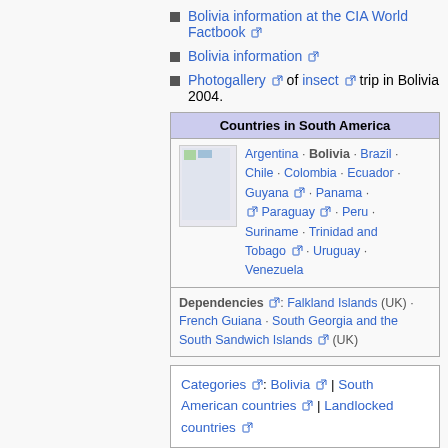Bolivia information at the CIA World Factbook [external link]
Bolivia information [external link]
Photogallery [external link] of insect [external link] trip in Bolivia 2004.
| Countries in South America |
| --- |
| Argentina · Bolivia · Brazil · Chile · Colombia · Ecuador · Guyana [ext] · Panama · [ext] Paraguay [ext] · Peru · Suriname · Trinidad and Tobago [ext] · Uruguay · Venezuela |
| Dependencies [ext]: Falkland Islands (UK) · French Guiana · South Georgia and the South Sandwich Islands [ext] (UK) |
Categories [ext]: Bolivia [ext] | South American countries [ext] | Landlocked countries [ext]